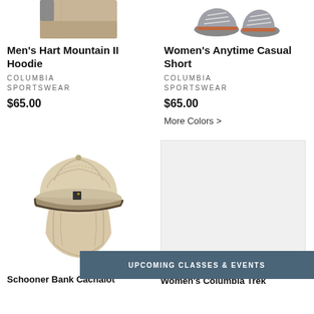[Figure (photo): Partial image of Men's Hart Mountain II Hoodie - lower torso view in tan/khaki]
[Figure (photo): Partial image of Women's Anytime Casual Short - pair of hiking shoes/boots in gray and orange]
Men's Hart Mountain II Hoodie
COLUMBIA SPORTSWEAR
$65.00
Women's Anytime Casual Short
COLUMBIA SPORTSWEAR
$65.00
More Colors >
[Figure (photo): Columbia Schooner Bank Cachalot hat - beige/tan sun hat with neck flap, shown from front angle]
[Figure (photo): Gray placeholder image box for Women's Columbia Trek product]
UPCOMING CLASSES & EVENTS
Schooner Bank Cachalot
Women's Columbia Trek